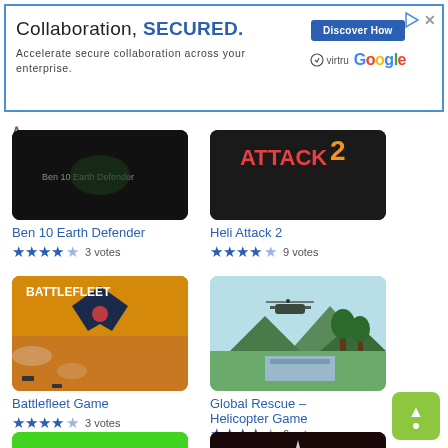[Figure (screenshot): Advertisement banner for Virtru and Google collaboration security product with blue border, title 'Collaboration, SECURED.', subtitle text, Discover How button, Virtru and Google logos]
Ben 10 Earth Defender
★★★★★ 3 votes
Heli Attack 2
★★★★★ 9 votes
[Figure (screenshot): Battlefleet Game thumbnail showing spacecraft on orange background]
Battlefleet Game
★★★★★ 3 votes
[Figure (screenshot): Global Rescue Helicopter Game thumbnail showing helicopter over tropical landscape]
Global Rescue – Helicopter Game
★★★★★ 6 votes
[Figure (screenshot): Partial green game thumbnail at bottom left]
[Figure (screenshot): Partial dark space game thumbnail at bottom center]